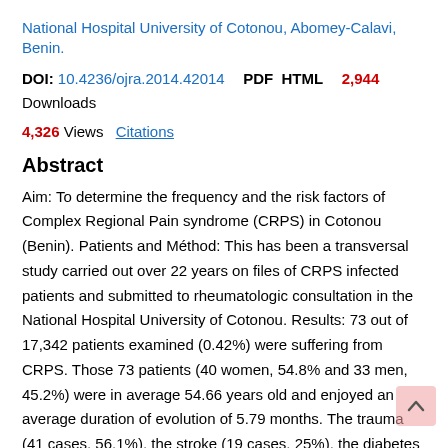National Hospital University of Cotonou, Abomey-Calavi, Benin.
DOI: 10.4236/ojra.2014.42014   PDF   HTML   2,944 Downloads
4,326 Views   Citations
Abstract
Aim: To determine the frequency and the risk factors of Complex Regional Pain syndrome (CRPS) in Cotonou (Benin). Patients and Méthod: This has been a transversal study carried out over 22 years on files of CRPS infected patients and submitted to rheumatologic consultation in the National Hospital University of Cotonou. Results: 73 out of 17,342 patients examined (0.42%) were suffering from CRPS. Those 73 patients (40 women, 54.8% and 33 men, 45.2%) were in average 54.66 years old and enjoyed an average duration of evolution of 5.79 months. The trauma (41 cases, 56.1%), the stroke (19 cases, 25%), the diabetes (8 cases, 11.3), were the main risk factors that were observed. CRPS was preferably located at the shoulder-hand (34.2%), shoulder (29.9%)